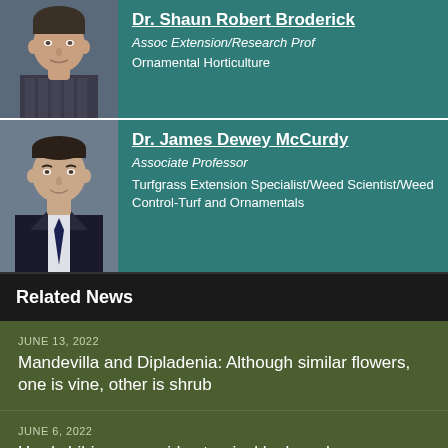[Figure (photo): Profile photo of Dr. Shaun Robert Broderick]
Dr. Shaun Robert Broderick
Assoc Extension/Research Prof
Ornamental Horticulture
[Figure (photo): Profile photo of Dr. James Dewey McCurdy]
Dr. James Dewey McCurdy
Associate Professor
Turfgrass Extension Specialist/Weed Scientist/Weed Control-Turf and Ornamentals
Related News
JUNE 13, 2022
Mandevilla and Dipladenia: Although similar flowers, one is vine, other is shrub
JUNE 6, 2022
Hardy hibiscus provides tropical look each year
MAY 27, 2022